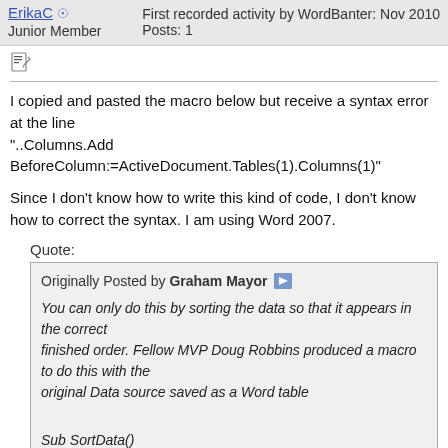ErikaC  Junior Member | First recorded activity by WordBanter: Nov 2010  Posts: 1
[Figure (other): Post/edit icon (notepad with pencil)]
I copied and pasted the macro below but receive a syntax error at the line "..Columns.Add BeforeColumn:=ActiveDocument.Tables(1).Columns(1)"
Since I don't know how to write this kind of code, I don't know how to correct the syntax. I am using Word 2007.
Quote:
Originally Posted by Graham Mayor [view post icon]
You can only do this by sorting the data so that it appears in the correct
finished order. Fellow MVP Doug Robbins produced a macro to do this with the
original Data source saved as a Word table

Sub SortData()
' Macro to assign numbers to data source so that it can be sorted